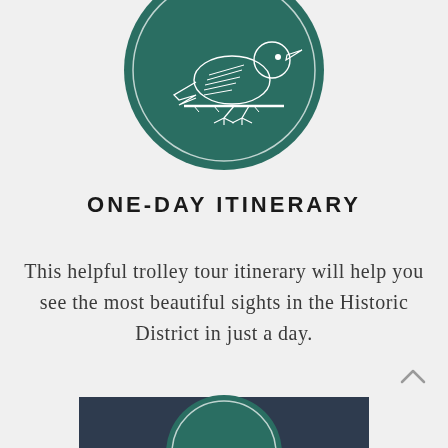[Figure (illustration): Dark teal circular emblem with a white line-art illustration of a bird perched on a branch, enclosed within a thin white inner circle border]
ONE-DAY ITINERARY
This helpful trolley tour itinerary will help you see the most beautiful sights in the Historic District in just a day.
SEE THE ITINERARY
[Figure (illustration): Partial view of another teal circular emblem at the bottom of the page, cropped]